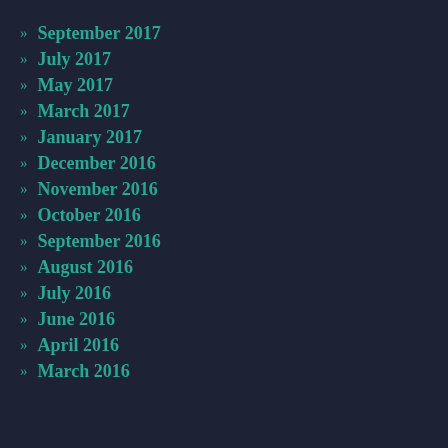» September 2017
» July 2017
» May 2017
» March 2017
» January 2017
» December 2016
» November 2016
» October 2016
» September 2016
» August 2016
» July 2016
» June 2016
» April 2016
» March 2016